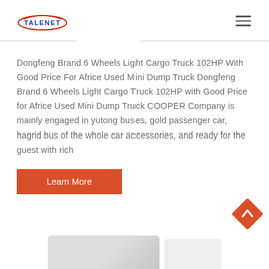TALENET
Dongfeng Brand 6 Wheels Light Cargo Truck 102HP With Good Price For Africe Used Mini Dump Truck Dongfeng Brand 6 Wheels Light Cargo Truck 102HP with Good Price for Africe Used Mini Dump Truck COOPER Company is mainly engaged in yutong buses, gold passenger car, hagrid bus of the whole car accessories, and ready for the guest with rich
Learn More
[Figure (photo): Partial view of a truck/vehicle at the bottom of the page]